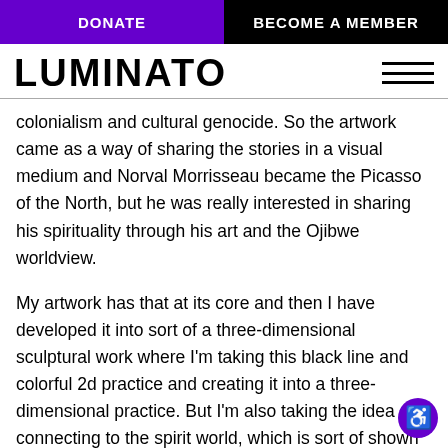DONATE | BECOME A MEMBER
LUMINATO
colonialism and cultural genocide. So the artwork came as a way of sharing the stories in a visual medium and Norval Morrisseau became the Picasso of the North, but he was really interested in sharing his spirituality through his art and the Ojibwe worldview.
My artwork has that at its core and then I have developed it into sort of a three-dimensional sculptural work where I'm taking this black line and colorful 2d practice and creating it into a three-dimensional practice. But I'm also taking the idea of connecting to the spirit world, which is sort of shown a lot in Woodland style art and I'm, I'm making it accessible through digital technology. When I, when I think of augmented reality art, I think I'm looking through a lens that shows me the spirit world on the other side, because I know that, not